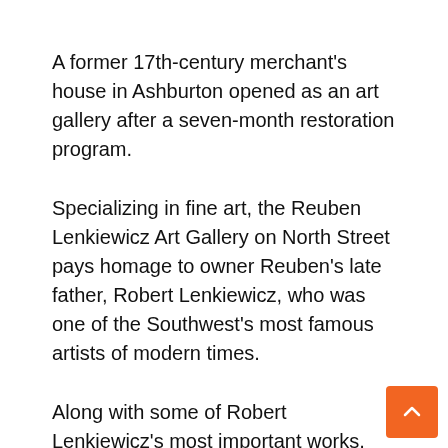A former 17th-century merchant's house in Ashburton opened as an art gallery after a seven-month restoration program.
Specializing in fine art, the Reuben Lenkiewicz Art Gallery on North Street pays homage to owner Reuben's late father, Robert Lenkiewicz, who was one of the Southwest's most famous artists of modern times.
Along with some of Robert Lenkiewicz's most important works, the gallery is home to one of the region's finest art collections, including a